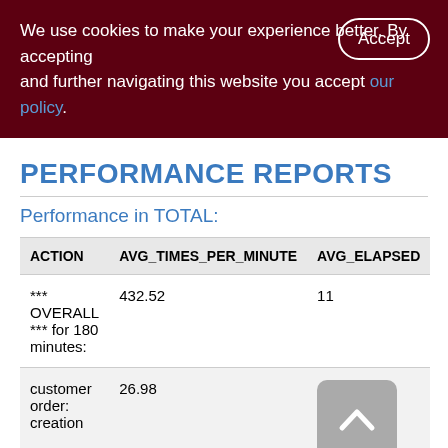We use cookies to make your experience better. By accepting and further navigating this website you accept our policy.
PERFORMANCE REPORTS
Performance in TOTAL:
| ACTION | AVG_TIMES_PER_MINUTE | AVG_ELAPSED |
| --- | --- | --- |
| *** OVERALL *** for 180 minutes: | 432.52 | 11 |
| customer order: creation | 26.98 |  |
| customer | 2.13 |  |